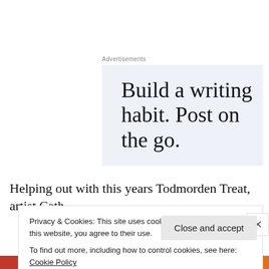Advertisements
[Figure (other): Advertisement banner with light blue background showing text: Build a writing habit. Post on the go.]
Helping out with this years Todmorden Treat, artist Cath
Privacy & Cookies: This site uses cookies. By continuing to use this website, you agree to their use.
To find out more, including how to control cookies, see here: Cookie Policy
Close and accept